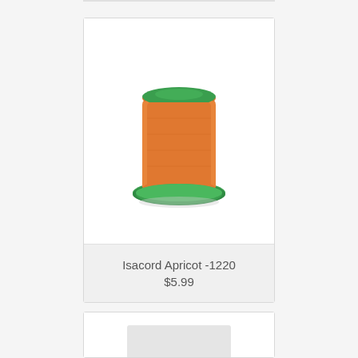[Figure (photo): Orange embroidery thread spool (Isacord Apricot -1220) with green top and base, on a white/light gray background]
Isacord Apricot -1220
$5.99
[Figure (photo): Partially visible embroidery thread spool, light colored, cropped at bottom of page]